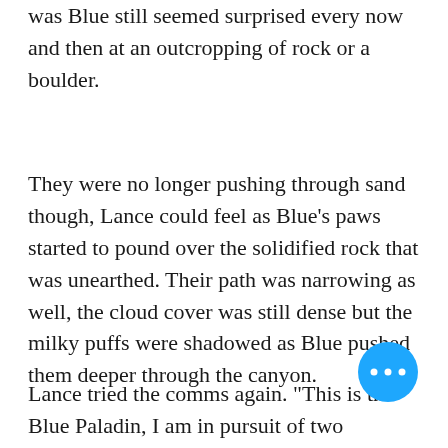was Blue still seemed surprised every now and then at an outcropping of rock or a boulder.
They were no longer pushing through sand though, Lance could feel as Blue's paws started to pound over the solidified rock that was unearthed. Their path was narrowing as well, the cloud cover was still dense but the milky puffs were shadowed as Blue pushed them deeper through the canyon.
Lance tried the comms again. "This is the Blue Paladin, I am in pursuit of two signatures. If you can, disclose your location."
Blue leaped around a corner of the rock